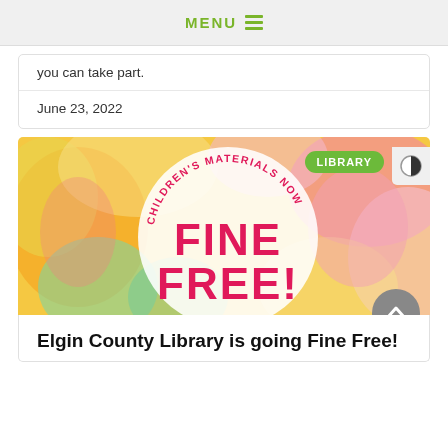MENU
you can take part.
June 23, 2022
[Figure (illustration): Colorful promotional banner for Elgin County Library featuring a white circle on a colorful background with text: 'CHILDREN'S MATERIALS NOW FINE FREE!' in pink lettering, with a green 'LIBRARY' badge.]
Elgin County Library is going Fine Free!